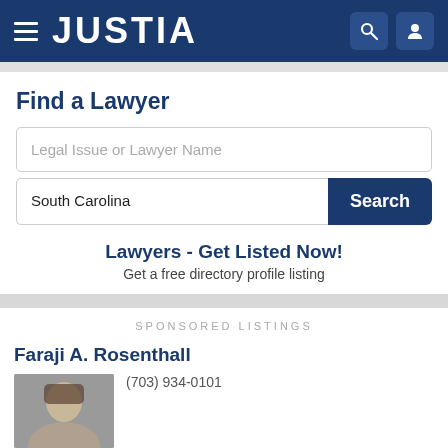JUSTIA
Find a Lawyer
[Figure (screenshot): Search box with placeholder text 'Legal Issue or Lawyer Name']
[Figure (screenshot): Location search row with 'South Carolina' text and Search button]
Lawyers - Get Listed Now!
Get a free directory profile listing
SPONSORED LISTINGS
Faraji A. Rosenthall
[Figure (photo): Photo of Faraji A. Rosenthall]
(703) 934-0101